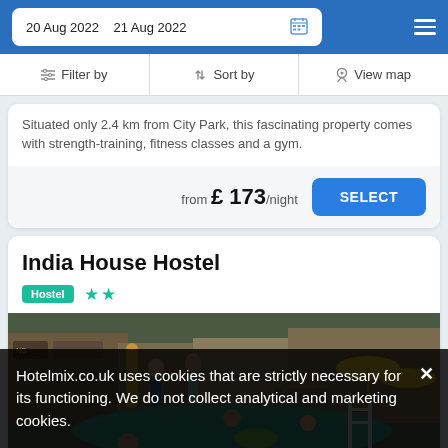20 Aug 2022   21 Aug 2022
Filter by   Sort by   View map
Situated only 2.4 km from City Park, this fascinating property comes with strength-training, fitness classes and a gym.
from £ 173/night   SELECT
India House Hostel
Hostel ★★
[Figure (photo): Outdoor pool area with people swimming and relaxing, wooden structures and yellow umbrellas in background]
Hotelmix.co.uk uses cookies that are strictly necessary for its functioning. We do not collect analytical and marketing cookies.